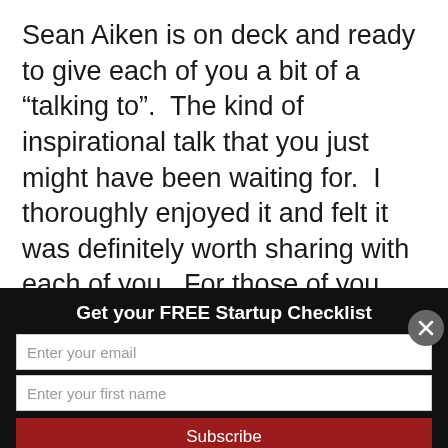Sean Aiken is on deck and ready to give each of you a bit of a “talking to”.  The kind of inspirational talk that you just might have been waiting for.  I thoroughly enjoyed it and felt it was definitely worth sharing with each of you.  For those of you who haven’t heard of Sean Aiken, he is an inspirational young man who is the creator of The One-Week Job Project.  From February 2007 to March 2008 Sean traveled an inspirational journey
Get your FREE Startup Checklist
Enter your email
Enter your first name
Subscribe